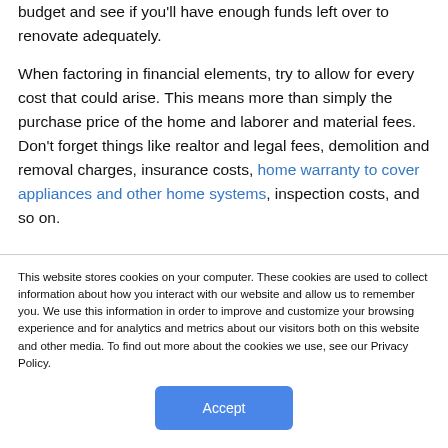budget and see if you'll have enough funds left over to renovate adequately.
When factoring in financial elements, try to allow for every cost that could arise. This means more than simply the purchase price of the home and laborer and material fees. Don't forget things like realtor and legal fees, demolition and removal charges, insurance costs, home warranty to cover appliances and other home systems, inspection costs, and so on.
This website stores cookies on your computer. These cookies are used to collect information about how you interact with our website and allow us to remember you. We use this information in order to improve and customize your browsing experience and for analytics and metrics about our visitors both on this website and other media. To find out more about the cookies we use, see our Privacy Policy.